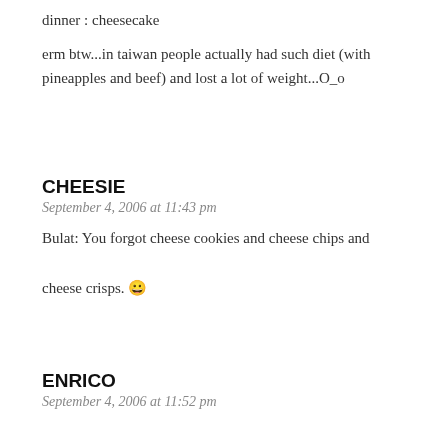dinner : cheesecake
erm btw...in taiwan people actually had such diet (with pineapples and beef) and lost a lot of weight...O_o
REPLY
CHEESIE
September 4, 2006 at 11:43 pm
Bulat: You forgot cheese cookies and cheese chips and cheese crisps. 😀
REPLY
ENRICO
September 4, 2006 at 11:52 pm